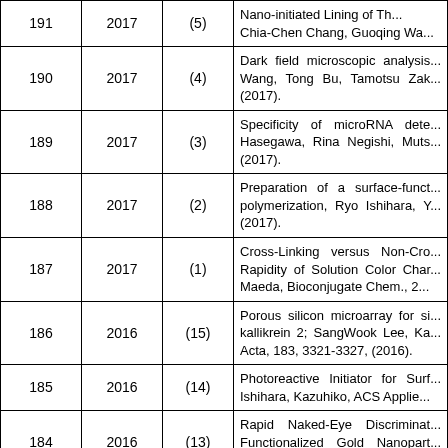| # | Year | Ref | Description |
| --- | --- | --- | --- |
| 191 | 2017 | (5) | Nano-initiated Lining of Th... Chia-Chen Chang, Guoqing Wa... |
| 190 | 2017 | (4) | Dark field microscopic analysis... Wang, Tong Bu, Tamotsu Zak... (2017). |
| 189 | 2017 | (3) | Specificity of microRNA dete... Hasegawa, Rina Negishi, Muts... (2017). |
| 188 | 2017 | (2) | Preparation of a surface-funct... polymerization, Ryo Ishihara, Y... (2017). |
| 187 | 2017 | (1) | Cross-Linking versus Non-Cro... Rapidity of Solution Color Char... Maeda, Bioconjugate Chem., 2... |
| 186 | 2016 | (15) | Porous silicon microarray for si... kallikrein 2; SangWook Lee, Ka... Acta, 183, 3321-3327, (2016). |
| 185 | 2016 | (14) | Photoreactive Initiator for Surf... Ishihara, Kazuhiko, ACS Applie... |
| 184 | 2016 | (13) | Rapid Naked-Eye Discriminat... Functionalized Gold Nanopart... Mizuo Maeda, ChemistryOpen,... |
| 183 | 2016 | (12) | Terminal-Specific Interaction D... Kanayam, Taito Sekine, Kazun... 13304, (2016). |